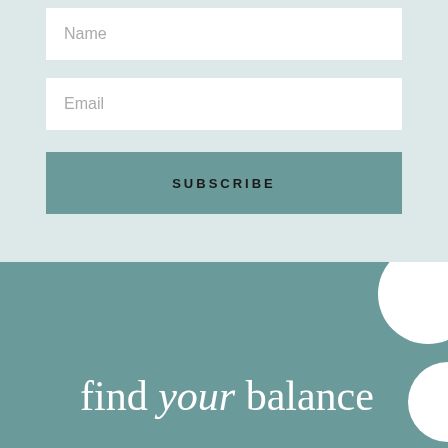Name
Email
SUBSCRIBE
find your balance